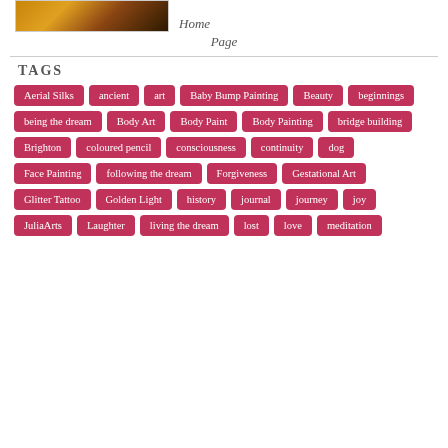[Figure (photo): Partial photo with warm brown/orange tones, cropped at top]
Home Page
TAGS
Aerial Silks
ancient
art
Baby Bump Painting
Beauty
beginnings
being the dream
Body Art
Body Paint
Body Painting
bridge building
Brighton
coloured pencil
consciousness
continuity
dog
Face Painting
following the dream
Forgiveness
Gestational Art
Glitter Tattoo
Golden Light
history
journal
journey
joy
JuliaArts
Laughter
living the dream
lost
love
meditation